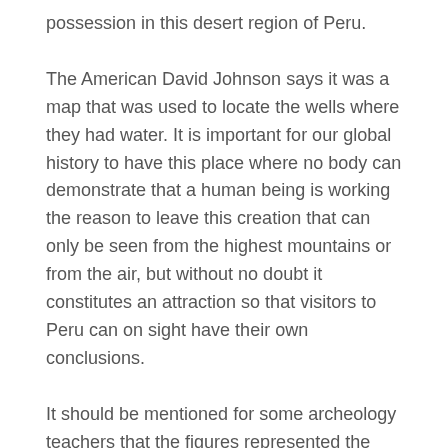possession in this desert region of Peru.
The American David Johnson says it was a map that was used to locate the wells where they had water. It is important for our global history to have this place where no body can demonstrate that a human being is working the reason to leave this creation that can only be seen from the highest mountains or from the air, but without no doubt it constitutes an attraction so that visitors to Peru can on sight have their own conclusions.
It should be mentioned for some archeology teachers that the figures represented the gods of nature, of creation, where the rituals were performed, through the sounds of music, so they are large to be seen from the sky.
Another Swiss scientist deduced that these were lands that were used for alien landings, based on an existing humanoid figure, such as an alien.